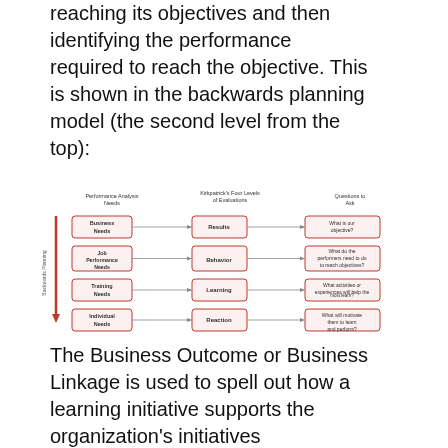reaching its objectives and then identifying the performance required to reach the objective. This is shown in the backwards planning model (the second level from the top):
[Figure (flowchart): Backwards Planning model diagram showing three columns: Performance Analysis Needs (Business Needs, Job Performance Needs, Training Needs, Individual Needs), Kirkpatrick's Four Levels of Evaluations (Results, Behavior, Learning, Reaction), and Questions to Ask (What is our objective?, What do the performers need to do to reach objectives?, What activities or experiences will help the most learn?, What will motivate them to learn and perform?). A red arrow on the left points downward labeled Backwards Planning.]
The Business Outcome or Business Linkage is used to spell out how a learning initiative supports the organization's initiatives